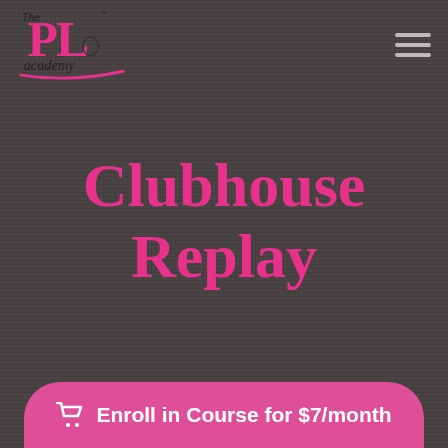[Figure (logo): The PL Academy logo with stylized 'PL' letters in pink and black, with 'The' above and 'academy' in script below, with a pink underline stroke]
Clubhouse Replay
Enroll in Course for $7/month